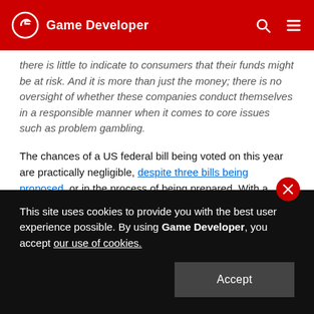Game Developer
there is little to indicate to consumers that their funds might be at risk. And it is more than just the money; there is no oversight of whether these companies conduct themselves in a responsible manner when it comes to core issues such as problem gambling.
The chances of a US federal bill being voted on this year are practically negligible, despite three bills being proposed, or in the process of being prepared. With a shutdown of federal government looming as a result of the latest budget/healthcare impasse, it is fair to say House and Senate politicians have bigger issues on their mind. Still, $2.6bn in at-risk spending by US customers should not be put lightly. To put it in perspective, that figure is the same size as world wide social casino gaming revenue in 2012.
This site uses cookies to provide you with the best user experience possible. By using Game Developer, you accept our use of cookies.